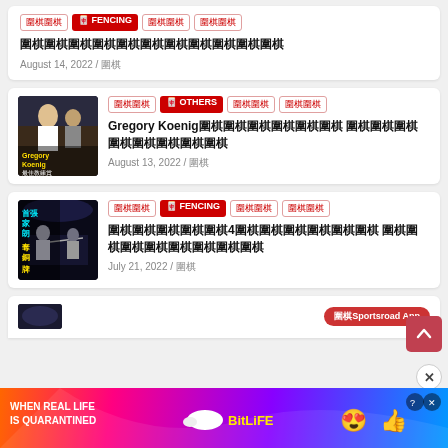Tags: 圍棋圍棋, 🀄 FENCING, 圍棋圍棋, 圍棋圍棋
圍棋圍棋圍棋圍棋圍棋圍棋圍棋圍棋圍棋圍棋圍棋
August 14, 2022 / 圍棋
Tags: 圍棋圍棋, 🀄 OTHERS, 圍棋圍棋, 圍棋圍棋
Gregory Koenig圍棋圍棋圍棋圍棋圍棋圍棋 圍棋圍棋圍棋圍棋圍棋圍棋圍棋圍棋
August 13, 2022 / 圍棋
Tags: 圍棋圍棋, 🀄 FENCING, 圍棋圍棋, 圍棋圍棋
圍棋圍棋圍棋圍棋圍棋4圍棋圍棋圍棋圍棋圍棋圍棋 圍棋圍棋圍棋圍棋圍棋圍棋圍棋圍棋
July 21, 2022 / 圍棋